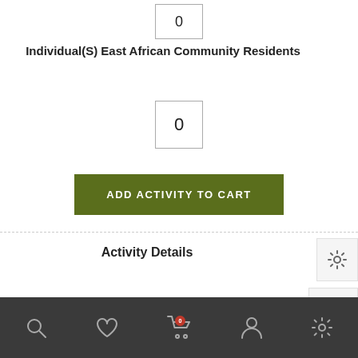0
Individual(S) East African Community Residents
0
ADD ACTIVITY TO CART
Activity Details
Related Activities from Murchison Falls National Park